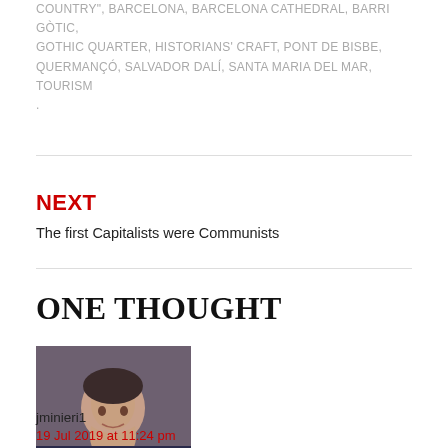COUNTRY", BARCELONA, BARCELONA CATHEDRAL, BARRI GÒTIC, GOTHIC QUARTER, HISTORIANS' CRAFT, PONT DE BISBE, QUERMANÇÓ, SALVADOR DALÍ, SANTA MARIA DEL MAR, TOURISM
NEXT
The first Capitalists were Communists
ONE THOUGHT
[Figure (photo): Profile photo of commenter jminieri1, a woman with dark hair, smiling]
jminieri1
19 Jul 2019 at 11:24 pm